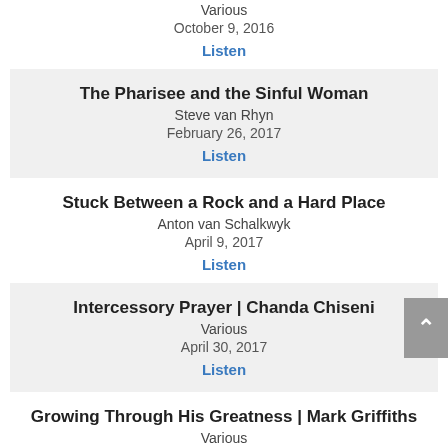Various
October 9, 2016
Listen
The Pharisee and the Sinful Woman
Steve van Rhyn
February 26, 2017
Listen
Stuck Between a Rock and a Hard Place
Anton van Schalkwyk
April 9, 2017
Listen
Intercessory Prayer | Chanda Chiseni
Various
April 30, 2017
Listen
Growing Through His Greatness | Mark Griffiths
Various